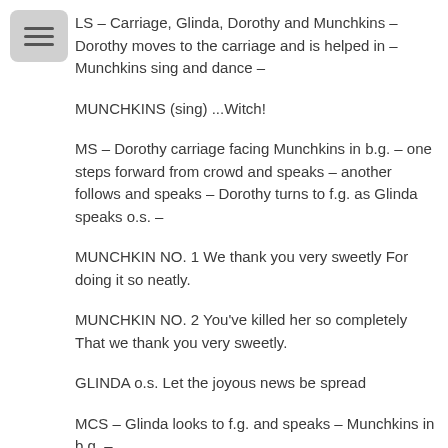LS – Carriage, Glinda, Dorothy and Munchkins – Dorothy moves to the carriage and is helped in – Munchkins sing and dance –
MUNCHKINS (sing) ...Witch!
MS – Dorothy carriage facing Munchkins in b.g. – one steps forward from crowd and speaks – another follows and speaks – Dorothy turns to f.g. as Glinda speaks o.s. –
MUNCHKIN NO. 1 We thank you very sweetly For doing it so neatly.
MUNCHKIN NO. 2 You've killed her so completely That we thank you very sweetly.
GLINDA o.s. Let the joyous news be spread
MCS – Glinda looks to f.g. and speaks – Munchkins in b.g. –